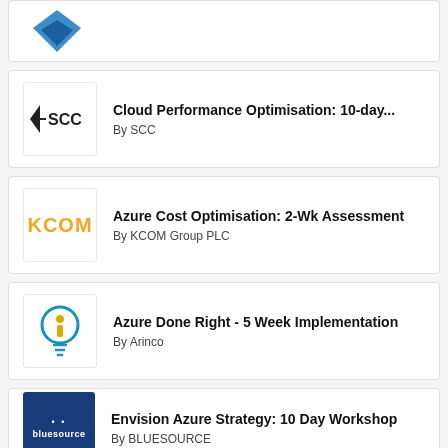[Figure (logo): Partial card with blue diamond logo at top]
Cloud Performance Optimisation: 10-day...
By SCC
Azure Cost Optimisation: 2-Wk Assessment
By KCOM Group PLC
Azure Done Right - 5 Week Implementation
By Arinco
Envision Azure Strategy: 10 Day Workshop
By BLUESOURCE